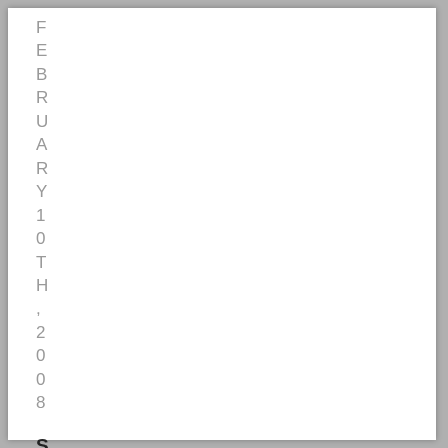FEBRUARY 10TH, 2008
Should I try